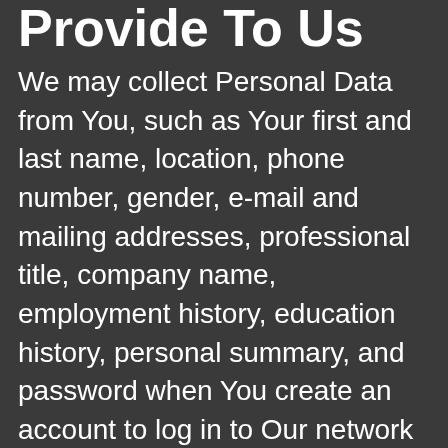Provide To Us
We may collect Personal Data from You, such as Your first and last name, location, phone number, gender, e-mail and mailing addresses, professional title, company name, employment history, education history, personal summary, and password when You create an account to log in to Our network (“Account”). We retain information on Your behalf, such as files and messages that You store using Your Account.
If You provide Us feedback or